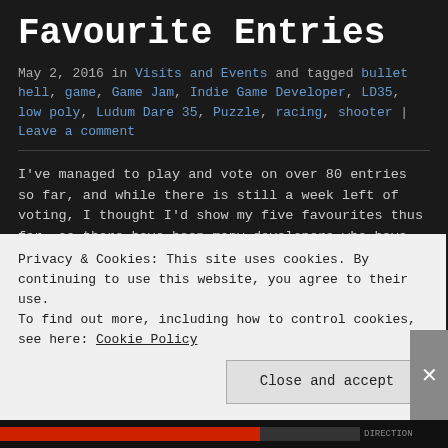Favourite Entries
May 2, 2016 in Visits and Events and tagged bullet hell, game, Game Jam, Indie Game Developer, LD35, low poly, Ludum Dare 35, Puzzle, racing, shooter | Leave a comment
I've managed to play and vote on over 80 entries so far, and while there is still a week left of voting, I thought I'd show my five favourites thus far, as there have been many developers who have pulled off interesting and creative ideas based on the theme, and this LD had a really good theme.
2ShiftDrift by 01010111
Privacy & Cookies: This site uses cookies. By continuing to use this website, you agree to their use. To find out more, including how to control cookies, see here: Cookie Policy
Close and accept